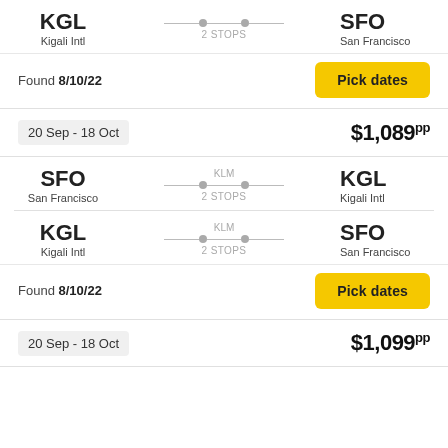KGL / Kigali Intl → SFO / San Francisco, 2 STOPS
Found 8/10/22
Pick dates
20 Sep - 18 Oct   $1,089pp
SFO / San Francisco → KGL / Kigali Intl, KLM, 2 STOPS
KGL / Kigali Intl → SFO / San Francisco, KLM, 2 STOPS
Found 8/10/22
Pick dates
20 Sep - 18 Oct   $1,099pp